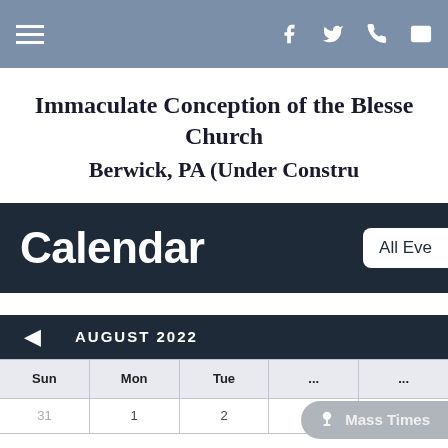Navigation bar with hamburger menu and social/contact icons
Immaculate Conception of the Blessed Church
Berwick, PA (Under Constru
Calendar
All Eve
| Sun | Mon | Tue |
| --- | --- | --- |
| 31 | 1 | 2 |
AUGUST 2022
Mass Times